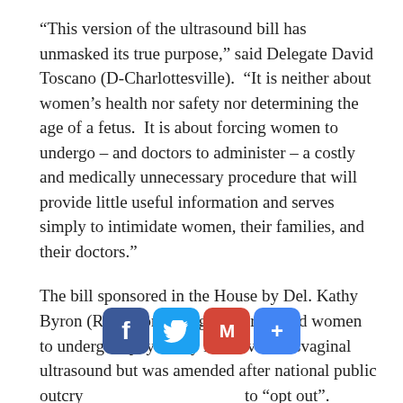“This version of the ultrasound bill has unmasked its true purpose,” said Delegate David Toscano (D-Charlottesville). “It is neither about women’s health nor safety nor determining the age of a fetus. It is about forcing women to undergo – and doctors to administer – a costly and medically unnecessary procedure that will provide little useful information and serves simply to intimidate women, their families, and their doctors.”
The bill sponsored in the House by Del. Kathy Byron (R-Bedford), originally required women to undergo a physically intrusive transvaginal ultrasound but was amended after national public outcry [social buttons] to “opt out”.